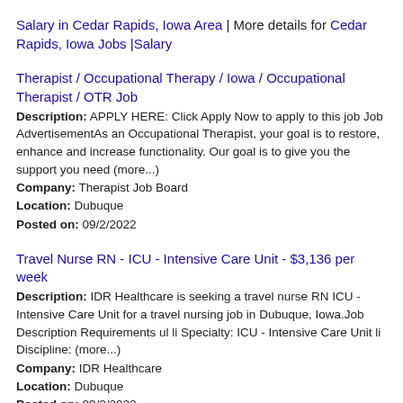Salary in Cedar Rapids, Iowa Area | More details for Cedar Rapids, Iowa Jobs |Salary
Therapist / Occupational Therapy / Iowa / Occupational Therapist / OTR Job
Description: APPLY HERE: Click Apply Now to apply to this job Job AdvertisementAs an Occupational Therapist, your goal is to restore, enhance and increase functionality. Our goal is to give you the support you need (more...)
Company: Therapist Job Board
Location: Dubuque
Posted on: 09/2/2022
Travel Nurse RN - ICU - Intensive Care Unit - $3,136 per week
Description: IDR Healthcare is seeking a travel nurse RN ICU - Intensive Care Unit for a travel nursing job in Dubuque, Iowa.Job Description Requirements ul li Specialty: ICU - Intensive Care Unit li Discipline: (more...)
Company: IDR Healthcare
Location: Dubuque
Posted on: 09/2/2022